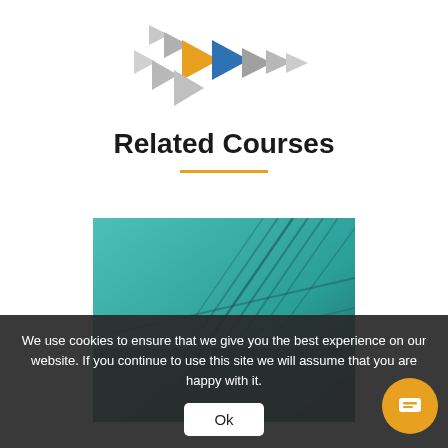[Figure (logo): Decorative arrow/play-button logo consisting of multiple triangles in grey, orange, and blue arranged in a cascading pattern]
Related Courses
[Figure (photo): Teal/green-tinted architectural photo showing diagonal building structure with glass and metal elements]
We use cookies to ensure that we give you the best experience on our website. If you continue to use this site we will assume that you are happy with it.
Ok